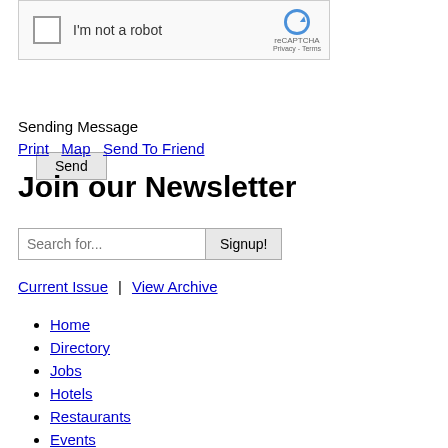[Figure (screenshot): reCAPTCHA widget with checkbox 'I'm not a robot' and reCAPTCHA logo]
Send
Sending Message
Print  |  Map  |  Send To Friend
Join our Newsletter
Search for...  Signup!
Current Issue  |  View Archive
Home
Directory
Jobs
Hotels
Restaurants
Events
Offers
Training